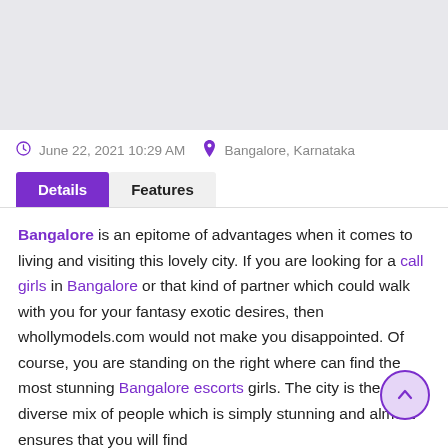[Figure (photo): Gray placeholder image at top of page]
June 22, 2021 10:29 AM   Bangalore, Karnataka
Details   Features (tab buttons)
Bangalore is an epitome of advantages when it comes to living and visiting this lovely city. If you are looking for a call girls in Bangalore or that kind of partner which could walk with you for your fantasy exotic desires, then whollymodels.com would not make you disappointed. Of course, you are standing on the right where can find the most stunning Bangalore escorts girls. The city is the diverse mix of people which is simply stunning and almost ensures that you will find others who are like minded at some point in time. Time